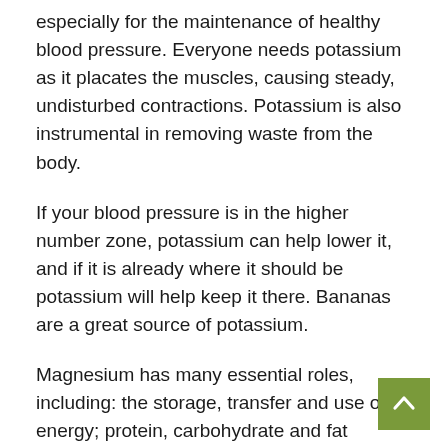especially for the maintenance of healthy blood pressure. Everyone needs potassium as it placates the muscles, causing steady, undisturbed contractions. Potassium is also instrumental in removing waste from the body.
If your blood pressure is in the higher number zone, potassium can help lower it, and if it is already where it should be potassium will help keep it there. Bananas are a great source of potassium.
Magnesium has many essential roles, including: the storage, transfer and use of energy; protein, carbohydrate and fat metabolism; maintenance of normal cell membrane function; and the regulation of parathyroid hormone secretion. It also lowers blood pressure and heart beat, modulates blood vessel resistance, strengthens bones and facilitates a healthy immune system. You can find magnesium in a lot of foods such